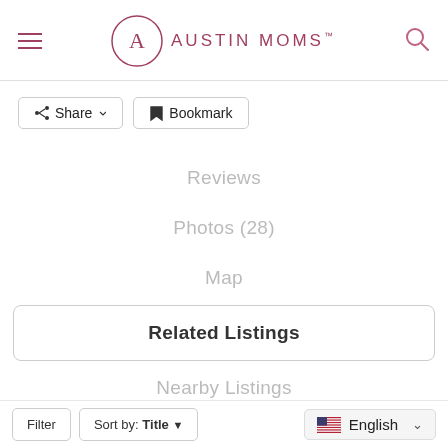[Figure (logo): Austin Moms logo with circle containing letter A and text AUSTIN MOMS]
Share
Bookmark
Reviews
Photos (28)
Map
Related Listings
Nearby Listings
Filter
Sort by: Title
English